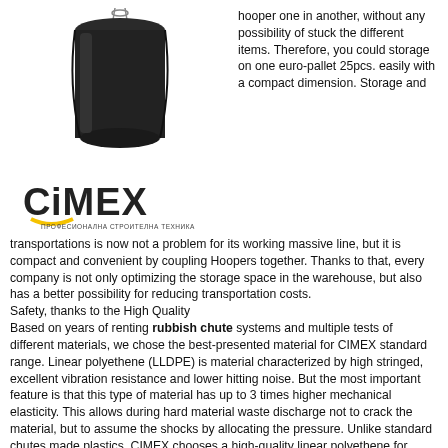[Figure (photo): A black cylindrical rubbish chute hopper product photo against white background]
[Figure (logo): CIMEX logo with tagline 'ПРОФЕСИОНАЛНА СТРОИТЕЛНА ТЕХНИКА' (Professional Construction Equipment)]
hooper one in another, without any possibility of stuck the different items. Therefore, you could storage on one euro-pallet 25pcs. easily with a compact dimension. Storage and transportations is now not a problem for its working massive line, but it is compact and convenient by coupling Hoopers together. Thanks to that, every company is not only optimizing the storage space in the warehouse, but also has a better possibility for reducing transportation costs.
Safety, thanks to the High Quality
Based on years of renting rubbish chute systems and multiple tests of different materials, we chose the best-presented material for CIMEX standard range. Linear polyethene (LLDPE) is material characterized by high stringed, excellent vibration resistance and lower hitting noise. But the most important feature is that this type of material has up to 3 times higher mechanical elasticity. This allows during hard material waste discharge not to crack the material, but to assume the shocks by allocating the pressure. Unlike standard chutes made plastics, CIMEX chooses a high-quality linear polyethene for rubbish chute range.
The excellent performance combined with low weight and